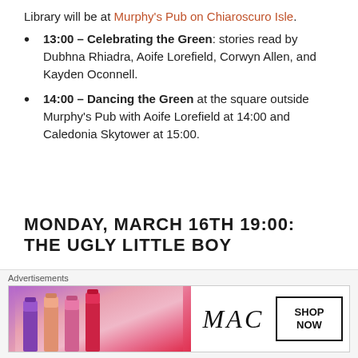Library will be at Murphy's Pub on Chiaroscuro Isle.
13:00 – Celebrating the Green: stories read by Dubhna Rhiadra, Aoife Lorefield, Corwyn Allen, and Kayden Oconnell.
14:00 – Dancing the Green at the square outside Murphy's Pub with Aoife Lorefield at 14:00 and Caledonia Skytower at 15:00.
MONDAY, MARCH 16TH 19:00: THE UGLY LITTLE BOY
Gyro Muggins reads a tale that started life as a short story by Isaac
[Figure (illustration): Book cover for Isaac Asimov & Robert Silverberg with gold text on dark blue background]
Advertisements
[Figure (illustration): MAC cosmetics advertisement showing lipsticks and Shop Now button]